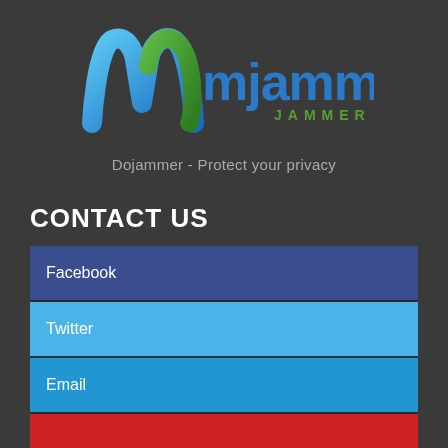[Figure (logo): Mjammer logo with blue and green M lettermark and text 'mjammer' in blue with 'JAMMER' in green below]
Dojammer - Protect your privacy
CONTACT US
Facebook
Twitter
Email